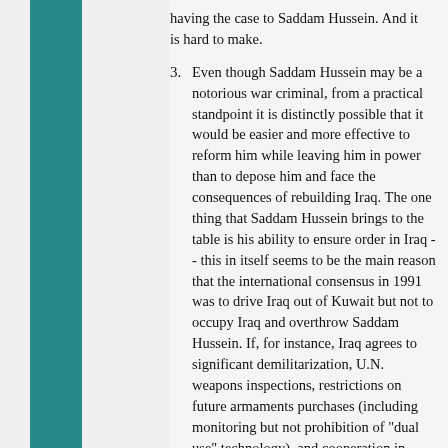(partial) having the case to Saddam Hussein. And it is hard to make.
3. Even though Saddam Hussein may be a notorious war criminal, from a practical standpoint it is distinctly possible that it would be easier and more effective to reform him while leaving him in power than to depose him and face the consequences of rebuilding Iraq. The one thing that Saddam Hussein brings to the table is his ability to ensure order in Iraq -- this in itself seems to be the main reason that the international consensus in 1991 was to drive Iraq out of Kuwait but not to occupy Iraq and overthrow Saddam Hussein. If, for instance, Iraq agrees to significant demilitarization, U.N. weapons inspections, restrictions on future armaments purchases (including monitoring but not prohibition of "dual use" technology), and cooperation in intelligence gatherng and prosecution of Al Qaeda terrorists, which (except for the last point) Iraq has pretty much agreed to already, isn't that all that is really needed?
4. Finally, we have to look at the prospective effects of invading Iraq on the U.S. If the U.S. proceeds